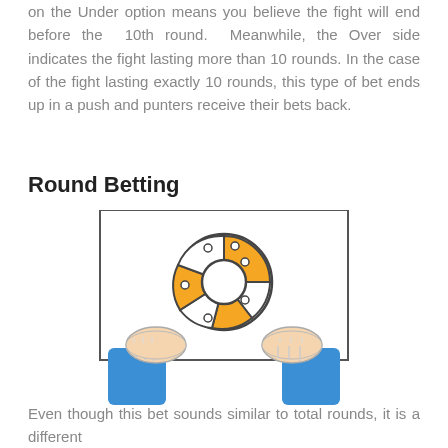on the Under option means you believe the fight will end before the 10th round. Meanwhile, the Over side indicates the fight lasting more than 10 rounds. In the case of the fight lasting exactly 10 rounds, this type of bet ends up in a push and punters receive their bets back.
Round Betting
[Figure (illustration): Two hands holding up a white card/board with an orange and white donut/roulette wheel icon in the center, illustrated in a flat design style with blue sleeves.]
Even though this bet sounds similar to total rounds, it is a different